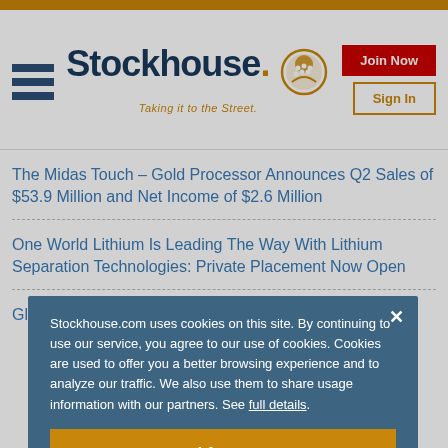[Figure (logo): Stockhouse logo with hamburger menu, logo text, tagline 'Taking it to the Street.', Join Now button, and Sign In button]
The Midas Touch – Gold Processor Announces Q2 Sales of $53.9 Million and Net Income of $2.6 Million
One World Lithium Is Leading The Way With Lithium Separation Technologies: Private Placement Now Open
Global Leader in 3D Geospatial Data & Intelligence
Stockhouse.com uses cookies on this site. By continuing to use our service, you agree to our use of cookies. Cookies are used to offer you a better browsing experience and to analyze our traffic. We also use them to share usage information with our partners. See full details.
I Agree